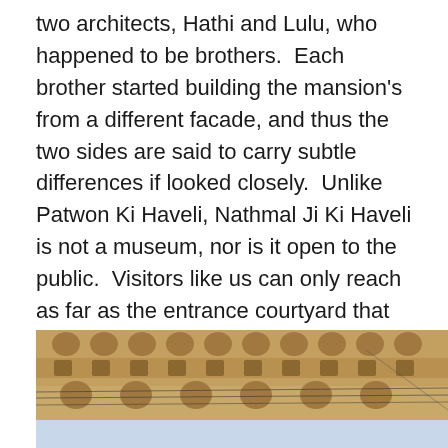two architects, Hathi and Lulu, who happened to be brothers.  Each brother started building the mansion's from a different facade, and thus the two sides are said to carry subtle differences if looked closely.  Unlike Patwon Ki Haveli, Nathmal Ji Ki Haveli is not a museum, nor is it open to the public.  Visitors like us can only reach as far as the entrance courtyard that was flanked by a few souvenir shops selling miniature paintings.  After a brief stay, we took a leisure stroll back to the hotel.  Wandering in the busy market streets of old Jaisalmer and seeing all the vibrant interactions of the locals was a delight.  Such delight would left us pleasant memories of the Golden City before we moved on to our next destination by night train.
[Figure (photo): Photograph of an ornate golden sandstone haveli building facade with detailed carved balconies and arched windows, taken from below against a blue sky, with power lines visible.]